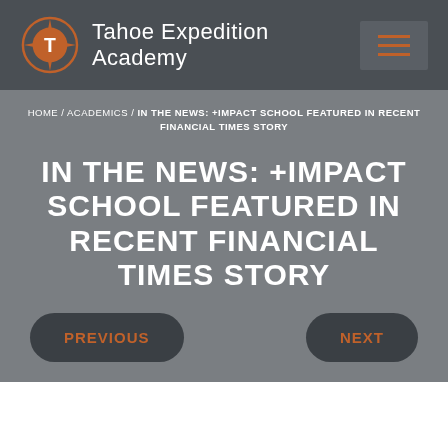[Figure (logo): Tahoe Expedition Academy logo with compass and T icon, orange and white, on dark grey background]
HOME / ACADEMICS / IN THE NEWS: +IMPACT SCHOOL FEATURED IN RECENT FINANCIAL TIMES STORY
IN THE NEWS: +IMPACT SCHOOL FEATURED IN RECENT FINANCIAL TIMES STORY
PREVIOUS
NEXT
THE FINANCIAL TIMES RECENTLY